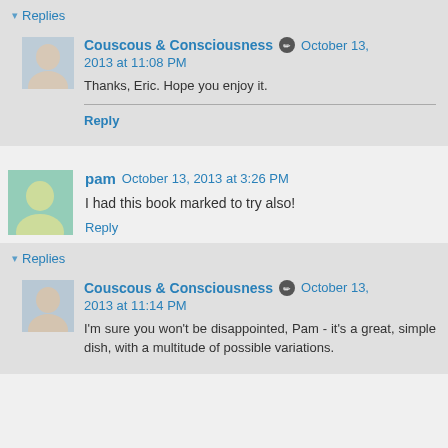▾ Replies
Couscous & Consciousness  October 13, 2013 at 11:08 PM
Thanks, Eric. Hope you enjoy it.
Reply
pam  October 13, 2013 at 3:26 PM
I had this book marked to try also!
Reply
▾ Replies
Couscous & Consciousness  October 13, 2013 at 11:14 PM
I'm sure you won't be disappointed, Pam - it's a great, simple dish, with a multitude of possible variations.